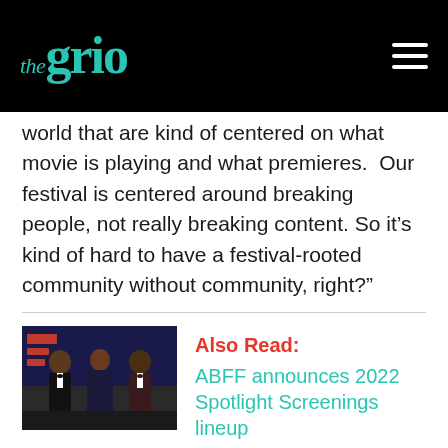theGrio
world that are kind of centered on what movie is playing and what premieres.  Our festival is centered around breaking people, not really breaking content. So it’s kind of hard to have a festival-rooted community without community, right?”
[Figure (photo): Three people posing at a formal event, two men in tuxedos and a woman, with event signage in the background]
Also Read: ABFF announces 2022 Spotlight Screenings lineup